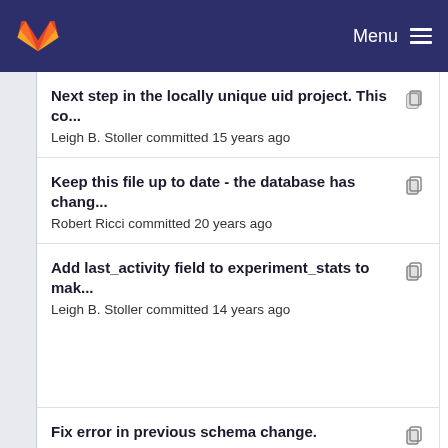Menu
Next step in the locally unique uid project. This co...
Leigh B. Stoller committed 15 years ago
Keep this file up to date - the database has chang...
Robert Ricci committed 20 years ago
Add last_activity field to experiment_stats to mak...
Leigh B. Stoller committed 14 years ago
Fix error in previous schema change.
Leigh B. Stoller committed 14 years ago
Add last_activity field to experiment_stats to mak...
Leigh B. Stoller committed 14 years ago